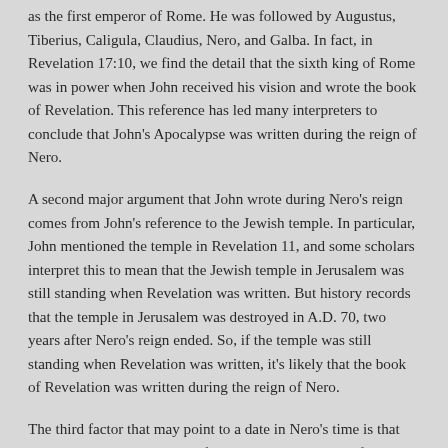as the first emperor of Rome. He was followed by Augustus, Tiberius, Caligula, Claudius, Nero, and Galba. In fact, in Revelation 17:10, we find the detail that the sixth king of Rome was in power when John received his vision and wrote the book of Revelation. This reference has led many interpreters to conclude that John's Apocalypse was written during the reign of Nero.
A second major argument that John wrote during Nero's reign comes from John's reference to the Jewish temple. In particular, John mentioned the temple in Revelation 11, and some scholars interpret this to mean that the Jewish temple in Jerusalem was still standing when Revelation was written. But history records that the temple in Jerusalem was destroyed in A.D. 70, two years after Nero's reign ended. So, if the temple was still standing when Revelation was written, it's likely that the book of Revelation was written during the reign of Nero.
The third factor that may point to a date in Nero's time is that John wrote during a period of persecution. The book of Revelation frequently mentions the fact that John's readers were suffering. We can see this in Revelation 1:9; 2:9, 10, 13; 6:9 and 20:4. And as we have already said, Nero was well-known for promoting the persecution of Christians. He wasn't the only Roman emperor to